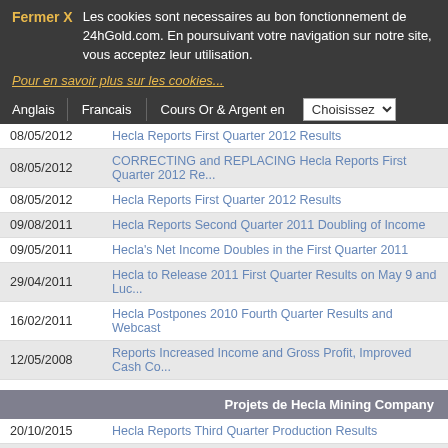Fermer X  Les cookies sont necessaires au bon fonctionnement de 24hGold.com. En poursuivant votre navigation sur notre site, vous acceptez leur utilisation.
Pour en savoir plus sur les cookies...
Anglais | Francais | Cours Or & Argent en | Choisissez
| Date | Headline |
| --- | --- |
| 08/05/2012 | Hecla Reports First Quarter 2012 Results |
| 08/05/2012 | CORRECTING and REPLACING Hecla Reports First Quarter 2012 Re... |
| 08/05/2012 | Hecla Reports First Quarter 2012 Results |
| 09/08/2011 | Hecla Reports Second Quarter 2011 Doubling of Income |
| 09/05/2011 | Hecla's Net Income Doubles in the First Quarter 2011 |
| 29/04/2011 | Hecla to Release 2011 First Quarter Results on May 9 and Luc... |
| 16/02/2011 | Hecla Postpones 2010 Fourth Quarter Results and Webcast |
| 12/05/2008 | Reports Increased Income and Gross Profit, Improved Cash Co... |
Projets de Hecla Mining Company
| Date | Headline |
| --- | --- |
| 20/10/2015 | Hecla Reports Third Quarter Production Results |
| 16/09/2015 | (San Sebastian)Hecla Announces Production Decision at San Sebastian |
| 29/01/2014 | Hecla Reports Preliminary 2013 Production Results of 8.9 Mil... |
| 19/06/2013 | Hecla Acquires Interest in Typhoon Exploration Inc. |
| 03/06/2013 | Hecla Completes Acquisition of Aurizon Mines Ltd. |
| 24/05/2013 | Hecla Mining Company CEO Video on Aurizon Acquisition |